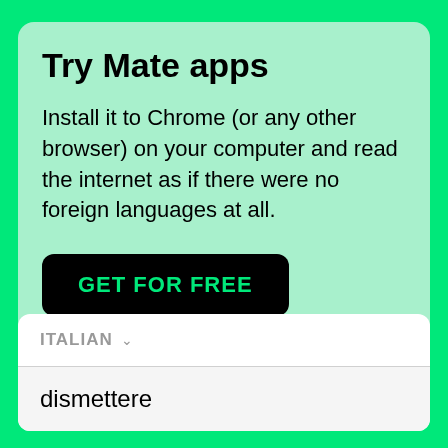Try Mate apps
Install it to Chrome (or any other browser) on your computer and read the internet as if there were no foreign languages at all.
GET FOR FREE
ITALIAN
dismettere